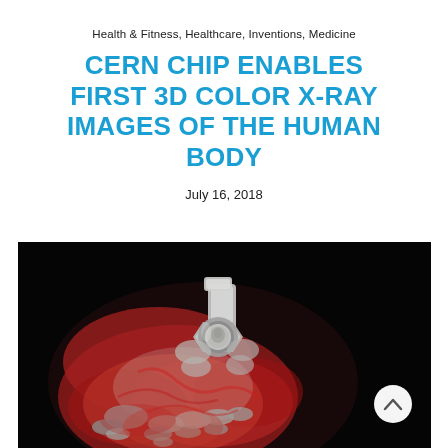Health & Fitness, Healthcare, Inventions, Medicine
CERN CHIP ENABLES FIRST 3D COLOR X-RAY IMAGES OF THE HUMAN BODY
July 16, 2018
[Figure (photo): 3D color X-ray image of a human hand holding a metal bolt/nut, with red muscle tissue and grey bone structures visible against a black background. A scroll-up button (white circle with upward chevron) is overlaid in the bottom-right corner.]